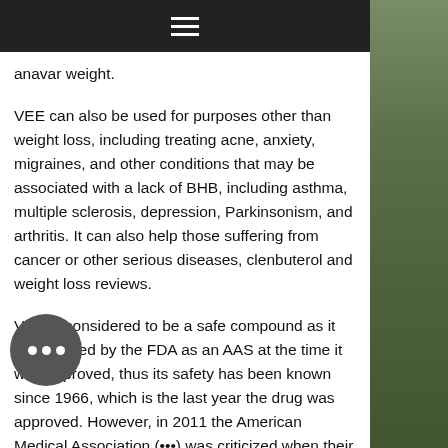Navigation bar (hamburger menu)
anavar weight.
VEE can also be used for purposes other than weight loss, including treating acne, anxiety, migraines, and other conditions that may be associated with a lack of BHB, including asthma, multiple sclerosis, depression, Parkinsonism, and arthritis. It can also help those suffering from cancer or other serious diseases, clenbuterol and weight loss reviews.
VEE is considered to be a safe compound as it was studied by the FDA as an AAS at the time it was approved, thus its safety has been known since 1966, which is the last year the drug was approved. However, in 2011 the American Medical Association (•••) was criticized when their report published in the New England Journal of Medicine, in which they said VEE may cause